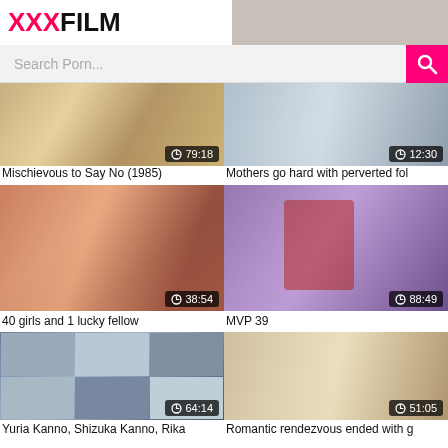XXXFILM
Search Porn...
[Figure (screenshot): Video thumbnail for Mischievous to Say No (1985), duration 79:18]
Mischievous to Say No (1985)
[Figure (screenshot): Video thumbnail for Mothers go hard with perverted fol, duration 12:30]
Mothers go hard with perverted fol
[Figure (screenshot): Video thumbnail for 40 girls and 1 lucky fellow, duration 38:54]
40 girls and 1 lucky fellow
[Figure (screenshot): Video thumbnail for MVP 39, duration 88:49]
MVP 39
[Figure (screenshot): Video thumbnail for Yuria Kanno, Shizuka Kanno, Rika, duration 64:14]
Yuria Kanno, Shizuka Kanno, Rika
[Figure (screenshot): Video thumbnail for Romantic rendezvous ended with g, duration 51:05]
Romantic rendezvous ended with g